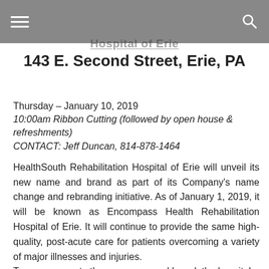Hospital of Erie 143 E. Second Street, Erie, PA
143 E. Second Street, Erie, PA
Thursday – January 10, 2019
10:00am Ribbon Cutting (followed by open house & refreshments)
CONTACT:  Jeff Duncan, 814-878-1464
HealthSouth Rehabilitation Hospital of Erie will unveil its new name and brand as part of its Company's name change and rebranding initiative. As of January 1, 2019, it will be known as Encompass Health Rehabilitation Hospital of Erie. It will continue to provide the same high-quality, post-acute care for patients overcoming a variety of major illnesses and injuries.
To commemorate the new name and brand, the hospital will be hosting a ceremony with ribbon cutting event.